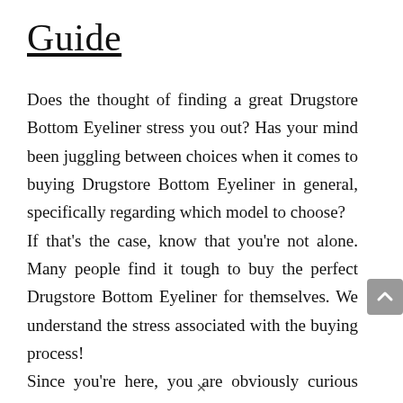Guide
Does the thought of finding a great Drugstore Bottom Eyeliner stress you out? Has your mind been juggling between choices when it comes to buying Drugstore Bottom Eyeliner in general, specifically regarding which model to choose?
If that’s the case, know that you’re not alone. Many people find it tough to buy the perfect Drugstore Bottom Eyeliner for themselves. We understand the stress associated with the buying process!
Since you’re here, you are obviously curious about Drugstore Bottom Eyeliner Reviews. You’ve been bombarded with information, so you need to find a